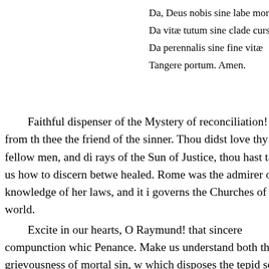Da, Deus nobis sine labe mores,
Da vitæ tutum sine clade cursum: sea
Da perennalis sine fine vitæ at
Tangere portum. Amen.
Faithful dispenser of the Mystery of reconciliation! it was from thee the friend of the sinner. Thou didst love thy fellow men, and did rays of the Sun of Justice, thou hast taught us how to discern between healed. Rome was the admirer of thy knowledge of her laws, and it is governs the Churches of the world.
Excite in our hearts, O Raymund! that sincere compunction which Penance. Make us understand both the grievousness of mortal sin, w which disposes the tepid soul to fall into mortal sin. Pray that there ma that sublime ministry of healing souls. Preserve them from the two e sloth. Revive amongst them the study of the holy Canons, which car such tender love for captives, console all that are pining now in exile from the ties of sin, which but too often make them who boast of their
Thou wast the confidant of the Heart of Mary, the Queen of Me